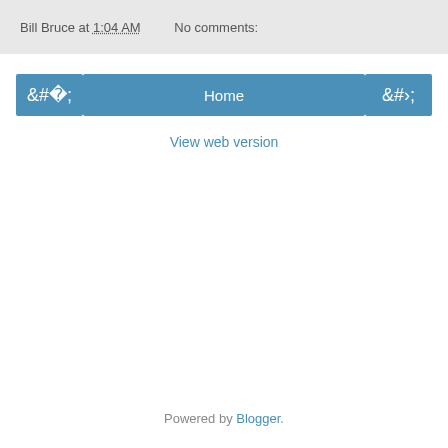Bill Bruce at 1:04 AM    No comments:
‹
Home
›
View web version
Powered by Blogger.